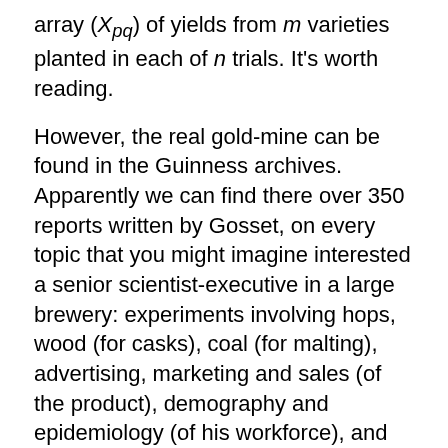array (X_pq) of yields from m varieties planted in each of n trials. It's worth reading.
However, the real gold-mine can be found in the Guinness archives. Apparently we can find there over 350 reports written by Gosset, on every topic that you might imagine interested a senior scientist-executive in a large brewery: experiments involving hops, wood (for casks), coal (for malting), advertising, marketing and sales (of the product), demography and epidemiology (of his workforce), and many aspects of the brewing process. Papers drawing on this material have started to come out over the last few years, but we can expect many more.
I learned about the archives while attending the 58th World Statistics Congress (ISI 2011) in Dublin last year. Not only did I hear excellent talks on “Student” and other luminaries of Irish statistics, I had the opportunity to take the Guinness Storehouse Tour, Ireland’s number one visitor